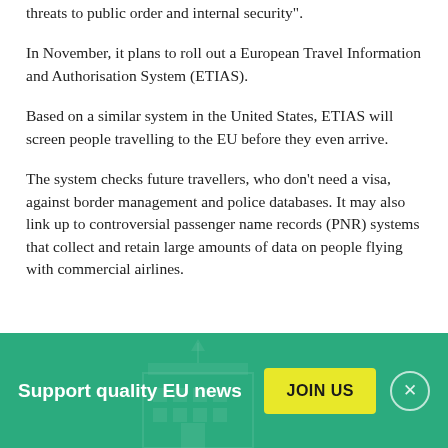threats to public order and internal security".
In November, it plans to roll out a European Travel Information and Authorisation System (ETIAS).
Based on a similar system in the United States, ETIAS will screen people travelling to the EU before they even arrive.
The system checks future travellers, who don't need a visa, against border management and police databases. It may also link up to controversial passenger name records (PNR) systems that collect and retain large amounts of data on people flying with commercial airlines.
[Figure (infographic): Green banner at bottom with text 'Support quality EU news', a yellow 'JOIN US' button, and a close (X) button. Background shows a faint building/parliament icon.]